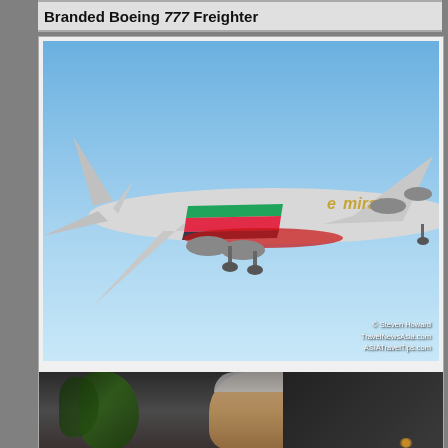Branded Boeing 777 Freighter
[Figure (photo): Emirates A380 aircraft in flight against a blue sky. Photo credit: © Steven Howard TravelNewsAsia.com ASIATravelTips.com]
Emirates to Operate A380 on Flights to Perth from 1 December
[Figure (photo): Partial view of a man's face/upper body, partially visible at bottom of page]